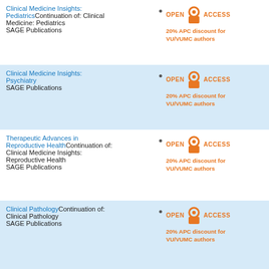Clinical Medicine Insights: PediatricsContinuation of: Clinical Medicine: Pediatrics
SAGE Publications
OPEN ACCESS 20% APC discount for VU/VUMC authors
Clinical Medicine Insights: Psychiatry
SAGE Publications
OPEN ACCESS 20% APC discount for VU/VUMC authors
Therapeutic Advances in Reproductive HealthContinuation of: Clinical Medicine Insights: Reproductive Health
SAGE Publications
OPEN ACCESS 20% APC discount for VU/VUMC authors
Clinical PathologyContinuation of: Clinical Pathology
SAGE Publications
OPEN ACCESS 20% APC discount for VU/VUMC authors